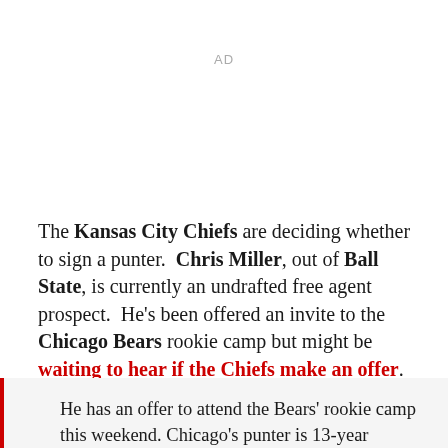AD
The Kansas City Chiefs are deciding whether to sign a punter. Chris Miller, out of Ball State, is currently an undrafted free agent prospect. He's been offered an invite to the Chicago Bears rookie camp but might be waiting to hear if the Chiefs make an offer.
He has an offer to attend the Bears' rookie camp this weekend. Chicago's punter is 13-year veteran Brad Maynard, a former Ball State star.But the Chiefs are